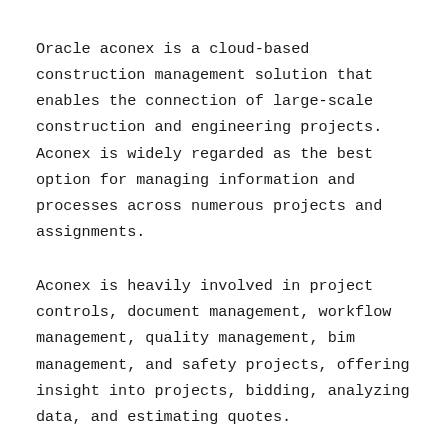Oracle aconex is a cloud-based construction management solution that enables the connection of large-scale construction and engineering projects. Aconex is widely regarded as the best option for managing information and processes across numerous projects and assignments.
Aconex is heavily involved in project controls, document management, workflow management, quality management, bim management, and safety projects, offering insight into projects, bidding, analyzing data, and estimating quotes.